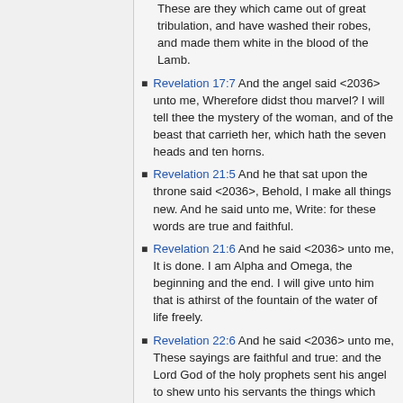These are they which came out of great tribulation, and have washed their robes, and made them white in the blood of the Lamb.
Revelation 17:7 And the angel said <2036> unto me, Wherefore didst thou marvel? I will tell thee the mystery of the woman, and of the beast that carrieth her, which hath the seven heads and ten horns.
Revelation 21:5 And he that sat upon the throne said <2036>, Behold, I make all things new. And he said unto me, Write: for these words are true and faithful.
Revelation 21:6 And he said <2036> unto me, It is done. I am Alpha and Omega, the beginning and the end. I will give unto him that is athirst of the fountain of the water of life freely.
Revelation 22:6 And he said <2036> unto me, These sayings are faithful and true: and the Lord God of the holy prophets sent his angel to shew unto his servants the things which must shortly be done.
Revelation 22:17 And the Spirit and the...